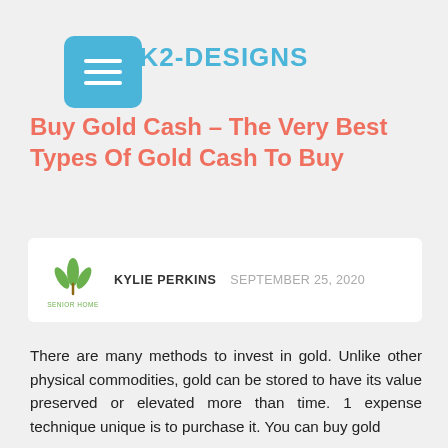K2-DESIGNS
Buy Gold Cash – The Very Best Types Of Gold Cash To Buy
KYLIE PERKINS   SEPTEMBER 25, 2020
There are many methods to invest in gold. Unlike other physical commodities, gold can be stored to have its value preserved or elevated more than time. 1 expense technique unique is to purchase it. You can buy gold